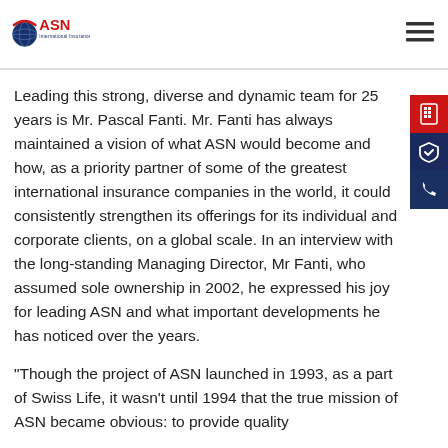ASN International Insurance
Leading this strong, diverse and dynamic team for 25 years is Mr. Pascal Fanti. Mr. Fanti has always maintained a vision of what ASN would become and how, as a priority partner of some of the greatest international insurance companies in the world, it could consistently strengthen its offerings for its individual and corporate clients, on a global scale. In an interview with the long-standing Managing Director, Mr Fanti, who assumed sole ownership in 2002, he expressed his joy for leading ASN and what important developments he has noticed over the years.
"Though the project of ASN launched in 1993, as a part of Swiss Life, it wasn't until 1994 that the true mission of ASN became obvious: to provide quality